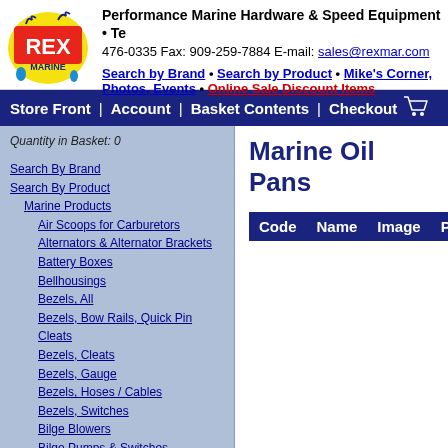Performance Marine Hardware & Speed Equipment • Tel: 476-0335 Fax: 909-259-7884 E-mail: sales@rexmar.com
Search by Brand • Search by Product • Mike's Corner, Photos, Events • Online Sale Discount Items
Store Front | Account | Basket Contents | Checkout
Quantity in Basket: 0
Search By Brand
Search By Product
Marine Products
Air Scoops for Carburetors
Alternators & Alternator Brackets
Battery Boxes
Bellhousings
Bezels, All
Bezels, Bow Rails, Quick Pin Cleats
Bezels, Cleats
Bezels, Gauge
Bezels, Hoses / Cables
Bezels, Switches
Bilge Blowers
Bilge Pumps & Switches
Bimini Top Brackets
Breathers, Engine
Buoys, Anchor & Marker
Cables (Control) & Accessories
Carburetor Linkage & Related Parts
Cleats
Drains & Drain Plugs
Marine Oil Pans
| Code | Name | Image | Price |
| --- | --- | --- | --- |